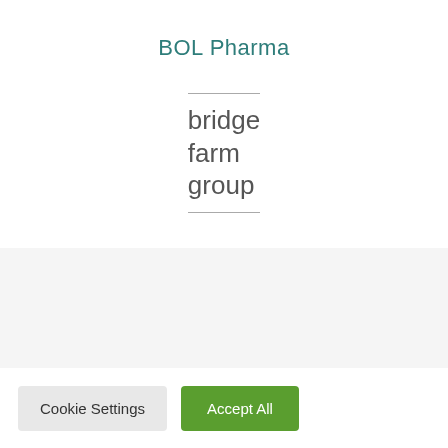BOL Pharma
[Figure (logo): Bridge Farm Group logo: horizontal lines above and below the text 'bridge farm group' in grey, minimal sans-serif font]
Cookie Settings
Accept All